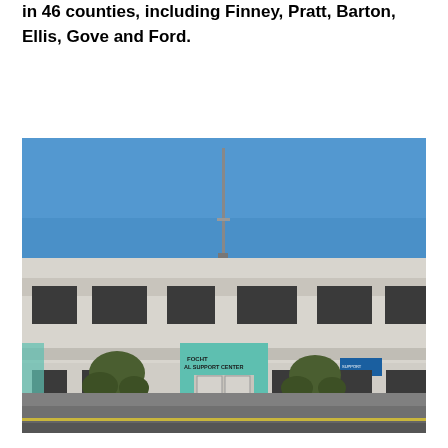in 46 counties, including Finney, Pratt, Barton, Ellis, Gove and Ford.
[Figure (photo): Exterior photograph of a two-story commercial building labeled 'FOCHT AL SUPPORT CENTER' with teal/turquoise accent entrance, trees in front, and a street visible in the foreground. Blue sky above.]